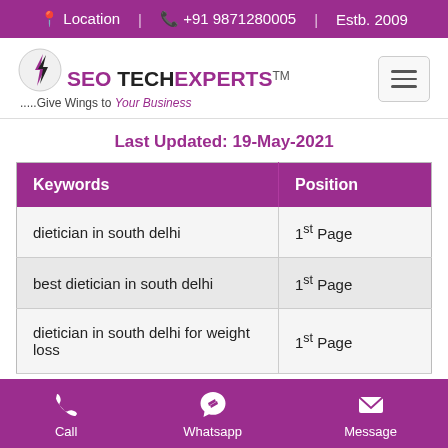📍 Location  |  📞 +91 9871280005  |  Estb. 2009
[Figure (logo): SEO TECH EXPERTS logo with lightning bolt icon and tagline '.....Give Wings to Your Business']
Last Updated: 19-May-2021
| Keywords | Position |
| --- | --- |
| dietician in south delhi | 1st Page |
| best dietician in south delhi | 1st Page |
| dietician in south delhi for weight loss | 1st Page |
Call | Whatsapp | Message